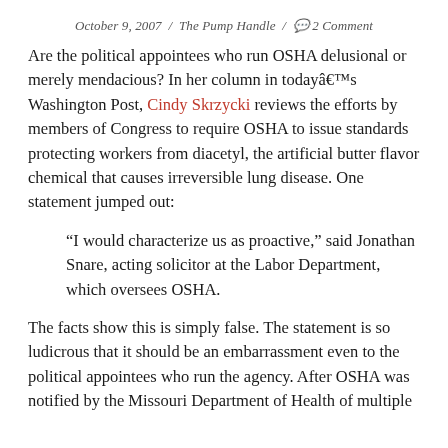October 9, 2007 / The Pump Handle / 2 Comment
Are the political appointees who run OSHA delusional or merely mendacious? In her column in todayâ€™s Washington Post, Cindy Skrzycki reviews the efforts by members of Congress to require OSHA to issue standards protecting workers from diacetyl, the artificial butter flavor chemical that causes irreversible lung disease. One statement jumped out:
“I would characterize us as proactive,” said Jonathan Snare, acting solicitor at the Labor Department, which oversees OSHA.
The facts show this is simply false. The statement is so ludicrous that it should be an embarrassment even to the political appointees who run the agency. After OSHA was notified by the Missouri Department of Health of multiple